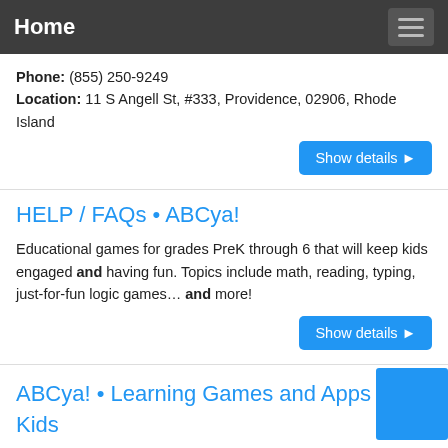Home
Phone: (855) 250-9249
Location: 11 S Angell St, #333, Providence, 02906, Rhode Island
Show details
HELP / FAQs • ABCya!
Educational games for grades PreK through 6 that will keep kids engaged and having fun. Topics include math, reading, typing, just-for-fun logic games… and more!
Show details
ABCya! • Learning Games and Apps for Kids